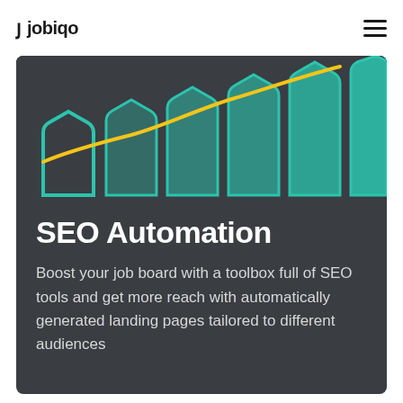jobiqo
[Figure (illustration): Bar-chart-like teal/green hexagonal or shield shapes arranged in ascending height from left to right, with a yellow curved line overlaid on top, on a dark grey background]
SEO Automation
Boost your job board with a toolbox full of SEO tools and get more reach with automatically generated landing pages tailored to different audiences